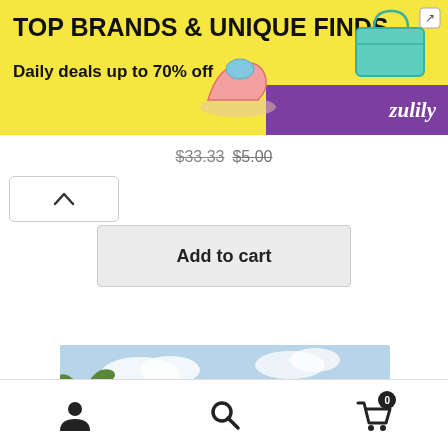[Figure (screenshot): Zulily advertisement banner with yellow background: 'TOP BRANDS & UNIQUE FINDS / Daily deals up to 70% off' with shoe and bag images and purple Zulily logo strip]
$33.33  $5.00
[Figure (other): Back navigation chevron (up arrow) button]
Add to cart
[Figure (photo): Exterior rendering of a small single-story house with flat/low-slope roof, covered porch with columns, wood-panel siding, and tropical landscaping with palm trees and potted plants. Watermark reads ProHomeDecors.Com]
[Figure (screenshot): Mobile app bottom navigation bar with user/account icon, search icon, and shopping basket icon with badge showing 0]